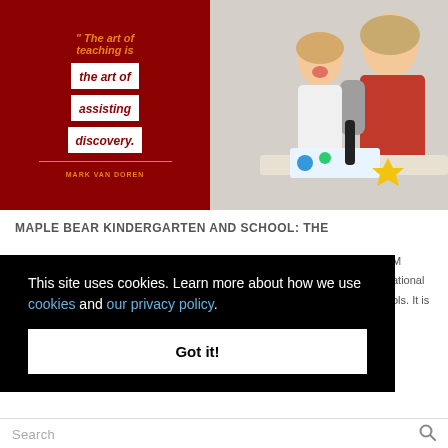[Figure (photo): Split hero image: left half is a dark red background with an inspirational quote in white boxes reading 'The art of teaching is the art of assisting discovery.' attributed to Mark Van Doren in orange text. Right half shows a teacher in a red apron helping a young boy with an art activity.]
MAPLE BEAR KINDERGARTEN AND SCHOOL: THE
...M ...ational ...ols. It is
This site uses cookies. Learn more about how we use cookies and our privacy policy.
Got it!
Search